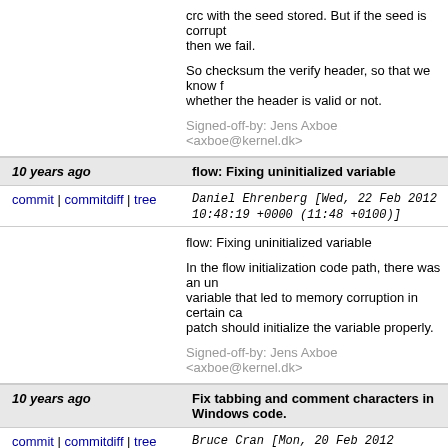crc with the seed stored. But if the seed is corrupt then we fail.

So checksum the verify header, so that we know for whether the header is valid or not.

Signed-off-by: Jens Axboe <axboe@kernel.dk>
10 years ago   flow: Fixing uninitialized variable
commit | commitdiff | tree   Daniel Ehrenberg [Wed, 22 Feb 2012 10:48:19 +0000 (11:48 +0100)]
flow: Fixing uninitialized variable

In the flow initialization code path, there was an uninitialized variable that led to memory corruption in certain cases. This patch should initialize the variable properly.

Signed-off-by: Jens Axboe <axboe@kernel.dk>
10 years ago   Fix tabbing and comment characters in Windows code.
commit | commitdiff | tree   Bruce Cran [Mon, 20 Feb 2012 20:03:48 +0000 (21:03 +0100)]
Fix tabbing and comment characters in Windows c